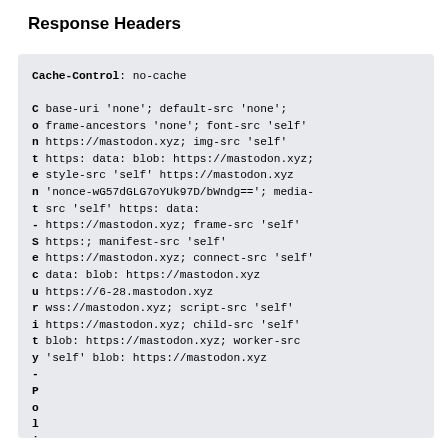Response Headers
Cache-Control: no-cache

Content-Security-Policy: base-uri 'none'; default-src 'none'; frame-ancestors 'none'; font-src 'self' https://mastodon.xyz; img-src 'self' https: data: blob: https://mastodon.xyz; style-src 'self' https://mastodon.xyz 'nonce-wG57dGLG7oYUk97D/bWndg=='; media-src 'self' https: data: https://mastodon.xyz; frame-src 'self' https:; manifest-src 'self' https://mastodon.xyz; connect-src 'self' data: blob: https://mastodon.xyz https://6-28.mastodon.xyz wss://mastodon.xyz; script-src 'self' https://mastodon.xyz; child-src 'self' blob: https://mastodon.xyz; worker-src 'self' blob: https://mastodon.xyz